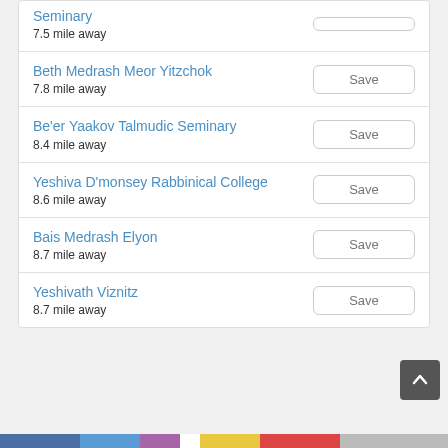Seminary
7.5 mile away
Beth Medrash Meor Yitzchok
7.8 mile away
Be'er Yaakov Talmudic Seminary
8.4 mile away
Yeshiva D'monsey Rabbinical College
8.6 mile away
Bais Medrash Elyon
8.7 mile away
Yeshivath Viznitz
8.7 mile away